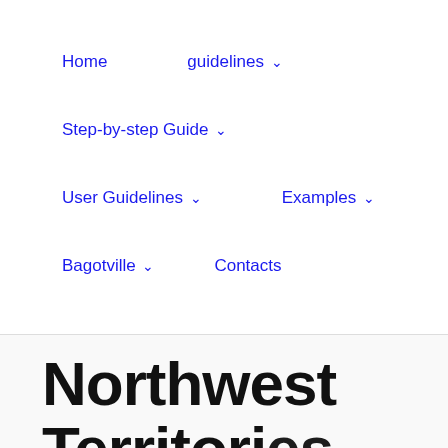Home   guidelines ⌄
Step-by-step Guide ⌄
User Guidelines ⌄   Examples ⌄
Bagotville ⌄   Contacts
Northwest Territories